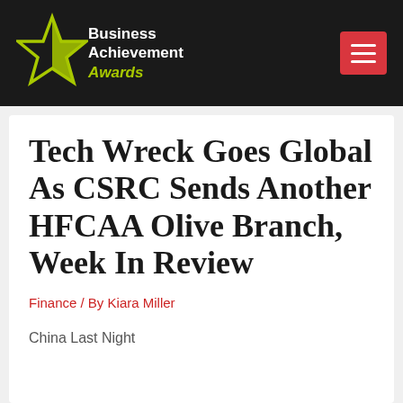Business Achievement Awards
Tech Wreck Goes Global As CSRC Sends Another HFCAA Olive Branch, Week In Review
Finance / By Kiara Miller
China Last Night